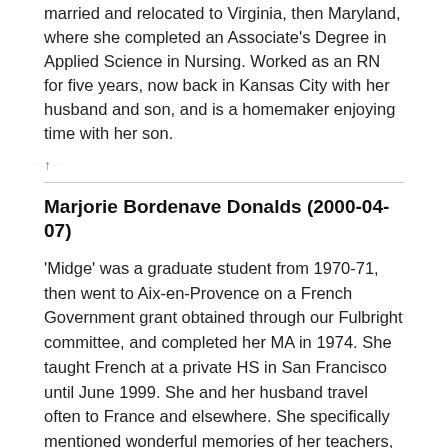married and relocated to Virginia, then Maryland, where she completed an Associate's Degree in Applied Science in Nursing. Worked as an RN for five years, now back in Kansas City with her husband and son, and is a homemaker enjoying time with her son.
↑
Marjorie Bordenave Donalds (2000-04-07)
'Midge' was a graduate student from 1970-71, then went to Aix-en-Provence on a French Government grant obtained through our Fulbright committee, and completed her MA in 1974. She taught French at a private HS in San Francisco until June 1999. She and her husband travel often to France and elsewhere. She specifically mentioned wonderful memories of her teachers, Norris Lacy, Barbara Craig and David Dinneen [she had to add that last name since she had gotten the questionnaire from me...]